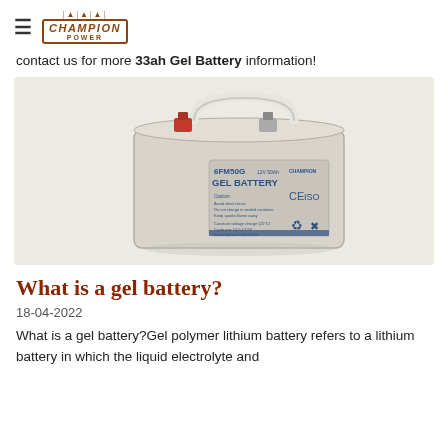≡ CHAMPION POWER
contact us for more 33ah Gel Battery information!
[Figure (photo): Photo of a Champion Power 6FM50G Gel Battery — a grey rectangular sealed lead-acid gel battery with carry handle and red/silver terminals on top, label showing '6FM50G GEL BATTERY' with CE and ISO marks.]
What is a gel battery?
18-04-2022
What is a gel battery?Gel polymer lithium battery refers to a lithium battery in which the liquid electrolyte and